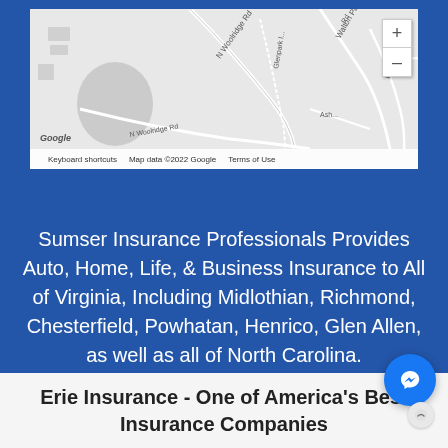[Figure (map): Google Maps showing area around N Woolridge Rd, Walton Park Rd, Glengate Rd, Rossmere Dr, Glenpark, Ash area. Shows road layout with zoom controls. Footer shows Google logo, Keyboard shortcuts, Map data ©2022 Google, Terms of Use.]
Sumser Insurance Professionals Provides Auto, Home, Life, & Business Insurance to All of Virginia, Including Midlothian, Richmond, Chesterfield, Powhatan, Henrico, Glen Allen, as well as all of North Carolina.
Erie Insurance - One of America's Best Insurance Companies